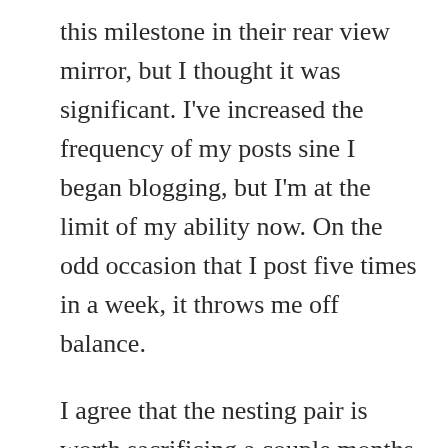this milestone in their rear view mirror, but I thought it was significant. I've increased the frequency of my posts sine I began blogging, but I'm at the limit of my ability now. On the odd occasion that I post five times in a week, it throws me off balance.
I agree that the nesting pair is worth sacrificing a couple months of trail access. I wish them success.
★ Liked by 1 person